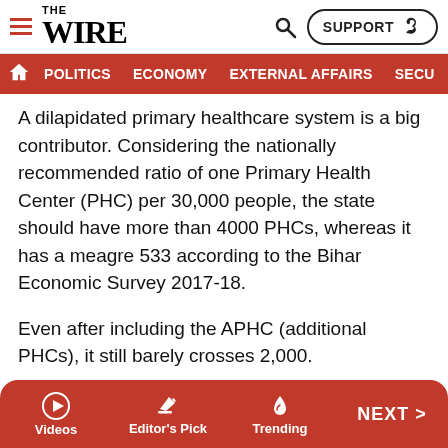THE WIRE - navigation header with POLITICS, ECONOMY, EXTERNAL AFFAIRS, SECU[RITY]
A dilapidated primary healthcare system is a big contributor. Considering the nationally recommended ratio of one Primary Health Center (PHC) per 30,000 people, the state should have more than 4000 PHCs, whereas it has a meagre 533 according to the Bihar Economic Survey 2017-18.
Even after including the APHC (additional PHCs), it still barely crosses 2,000.
Bihar's tertiary care is not in a praise-worthy shape either. Take Muzaffarpur for an example; the worst affected district from the AES outbreaks. Chief minister Nitish Kumar announced last year that the number of in-patient beds in
Videos | Editor's Pick | Trending | NEXT >